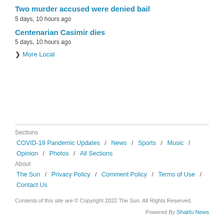Two murder accused were denied bail
5 days, 10 hours ago
Centenarian Casimir dies
5 days, 10 hours ago
❯ More Local
Sections
COVID-19 Pandemic Updates / News / Sports / Music / Opinion / Photos / All Sections
About
The Sun / Privacy Policy / Comment Policy / Terms of Use / Contact Us
Contents of this site are © Copyright 2022 The Sun. All Rights Reserved.
Powered By Shakfu News